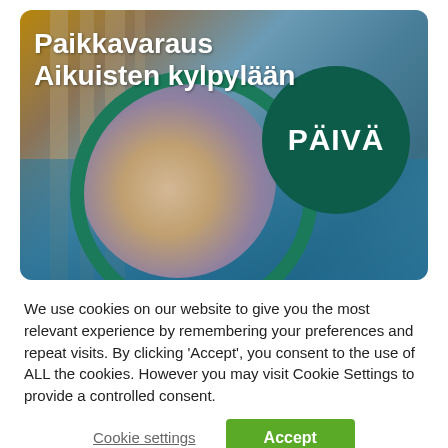[Figure (photo): Spa/bath facility with two adults (couple) facing each other in a pool, architectural columns in background, overlaid with a teal circle containing the word PÄIVÄ and a green circle outline. Finnish text overlay reads 'Paikkavaraus Aikuisten kylpylään'.]
We use cookies on our website to give you the most relevant experience by remembering your preferences and repeat visits. By clicking 'Accept', you consent to the use of ALL the cookies. However you may visit Cookie Settings to provide a controlled consent.
Cookie settings
Accept